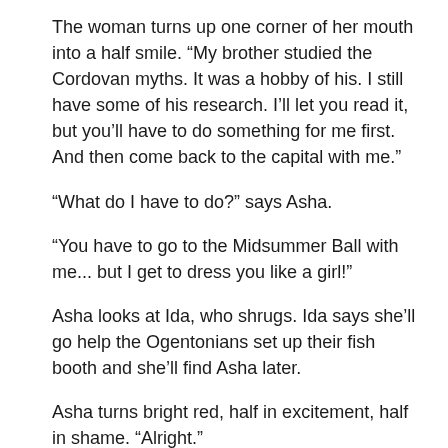The woman turns up one corner of her mouth into a half smile. “My brother studied the Cordovan myths. It was a hobby of his. I still have some of his research. I’ll let you read it, but you’ll have to do something for me first. And then come back to the capital with me.”
“What do I have to do?” says Asha.
“You have to go to the Midsummer Ball with me... but I get to dress you like a girl!”
Asha looks at Ida, who shrugs. Ida says she’ll go help the Ogentonians set up their fish booth and she’ll find Asha later.
Asha turns bright red, half in excitement, half in shame. “Alright.”